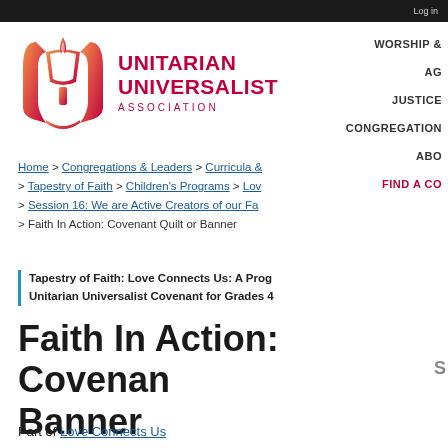Log in
[Figure (logo): Unitarian Universalist Association logo with chalice flame symbol in red-orange gradient]
WORSHIP & | AG | JUSTICE | CONGREGATION | ABO | FIND A CO
Home > Congregations & Leaders > Curricula & > Tapestry of Faith > Children's Programs > Lov > Session 16: We are Active Creators of our Fa > Faith In Action: Covenant Quilt or Banner
Tapestry of Faith: Love Connects Us: A Prog Unitarian Universalist Covenant for Grades 4
Faith In Action: Covenant Quilt or Banner
Part of Love Connects Us